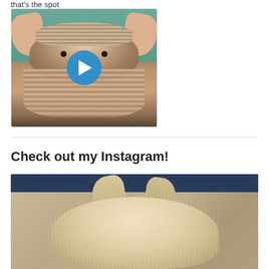that's the spot
[Figure (photo): A hedgehog being petted by two hands on either side of its head, with a blue play button overlay indicating a video thumbnail]
Check out my Instagram!
[Figure (photo): A white/cream fluffy dog viewed from behind, resting its head on a beige textured sofa cushion, with a dark navy background at the top]